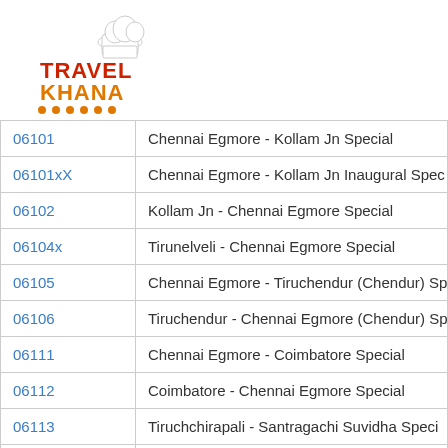[Figure (logo): TravelKhana logo with chef hat icon and colored text]
| Train No | Train Name |
| --- | --- |
| 06101 | Chennai Egmore - Kollam Jn Special |
| 06101xX | Chennai Egmore - Kollam Jn Inaugural Spec |
| 06102 | Kollam Jn - Chennai Egmore Special |
| 06104x | Tirunelveli - Chennai Egmore Special |
| 06105 | Chennai Egmore - Tiruchendur (Chendur) Sp |
| 06106 | Tiruchendur - Chennai Egmore (Chendur) Sp |
| 06111 | Chennai Egmore - Coimbatore Special |
| 06112 | Coimbatore - Chennai Egmore Special |
| 06113 | Tiruchchirapali - Santragachi Suvidha Speci |
| 06114 | Santragachi - Tiruchchirapalli SF Special |